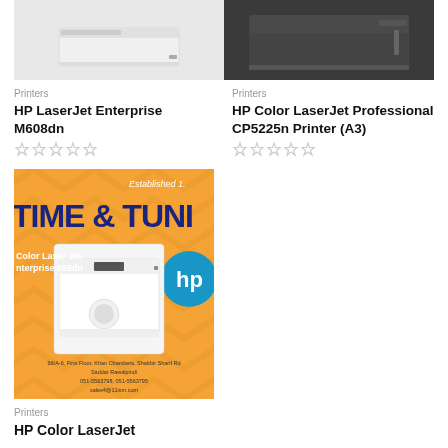[Figure (photo): HP LaserJet Enterprise M608dn printer image on light grey background]
[Figure (photo): HP Color LaserJet Professional CP5225n printer image on dark grey background]
Printers
HP LaserJet Enterprise M608dn
Printers
HP Color LaserJet Professional CP5225n Printer (A3)
[Figure (photo): Time & Tuni store advertisement with HP Color LaserJet Enterprise 555dn printer on orange background]
Printers
HP Color LaserJet